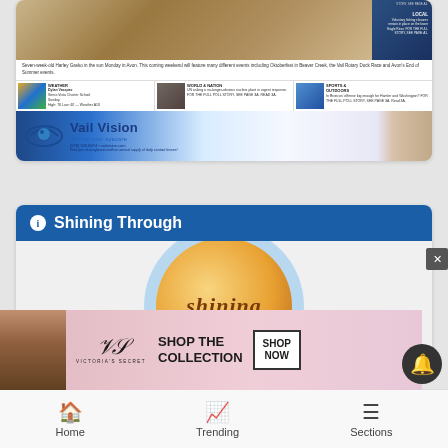[Figure (screenshot): Newspaper front page screenshot showing a photo of a person with a dog in snow, caption about Harley Gasko, weather section with Dylan Vasquez, World & Nation section, Sports & Outdoors section, and a Vail Vision eye care advertisement banner.]
[Figure (screenshot): Shining Through article header with blue banner and circular book cover graphic showing the word 'shining' in brown italic text on an orange background with a light blue circle border.]
[Figure (advertisement): Victoria's Secret advertisement banner: SHOP THE COLLECTION with SHOP NOW button and model photo.]
Home   Trending   Sections